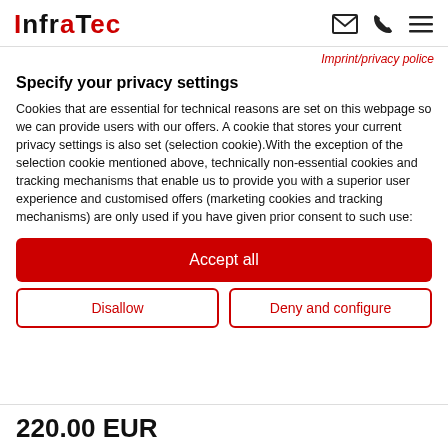InfraTec [logo with email, phone, menu icons]
Imprint/privacy police
Specify your privacy settings
Cookies that are essential for technical reasons are set on this webpage so we can provide users with our offers. A cookie that stores your current privacy settings is also set (selection cookie).With the exception of the selection cookie mentioned above, technically non-essential cookies and tracking mechanisms that enable us to provide you with a superior user experience and customised offers (marketing cookies and tracking mechanisms) are only used if you have given prior consent to such use:
Accept all
Disallow
Deny and configure
220.00 EUR